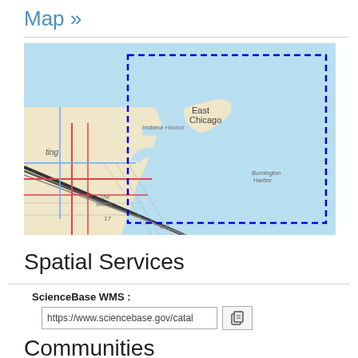Map »
[Figure (map): Topographic map showing East Chicago and Indiana Harbor area near Lake Michigan, with a blue dashed rectangle bounding box overlay indicating a geographic extent selection.]
Spatial Services
ScienceBase WMS :
https://www.sciencebase.gov/catal
Communities